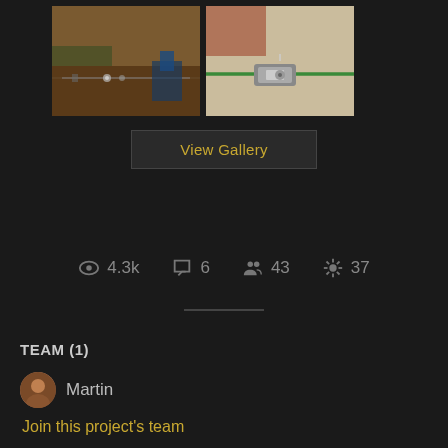[Figure (photo): Two photos side by side showing electronic components with green wire and metal connectors on wooden surface]
View Gallery
4.3k  6  43  37
TEAM (1)
Martin
Join this project's team